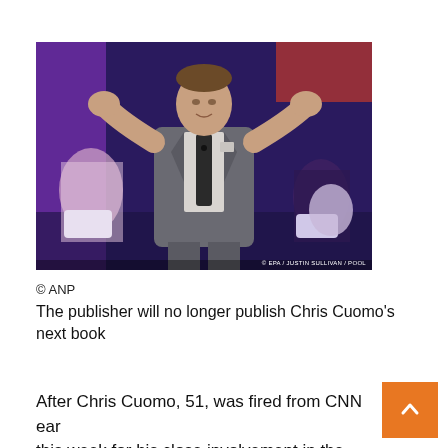[Figure (photo): Chris Cuomo in a grey plaid suit gesturing with both hands on stage, with audience members seated behind him in a blue-lit setting. Photo credit: © EPA / Justin Sullivan / Pool]
© ANP
The publisher will no longer publish Chris Cuomo's next book
After Chris Cuomo, 51, was fired from CNN early this week for his close involvement in the scandal